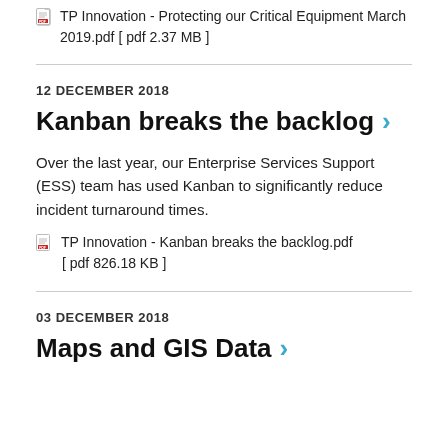TP Innovation - Protecting our Critical Equipment March 2019.pdf [ pdf 2.37 MB ]
12 DECEMBER 2018
Kanban breaks the backlog
Over the last year, our Enterprise Services Support (ESS) team has used Kanban to significantly reduce incident turnaround times.
TP Innovation - Kanban breaks the backlog.pdf [ pdf 826.18 KB ]
03 DECEMBER 2018
Maps and GIS Data